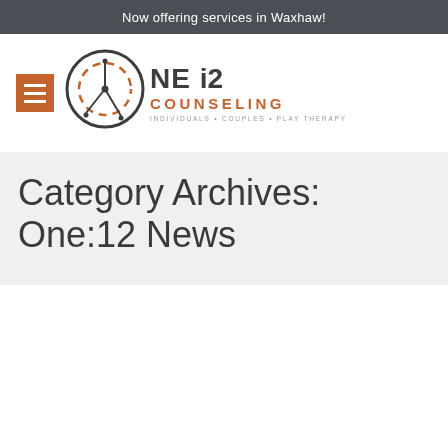Now offering services in Waxhaw!
[Figure (logo): One:12 Counseling logo with circular dandelion icon, menu hamburger icon in orange, text 'ONE 12 COUNSELING INDIVIDUALS + COUPLES + PLAY THERAPY']
Category Archives:
One:12 News